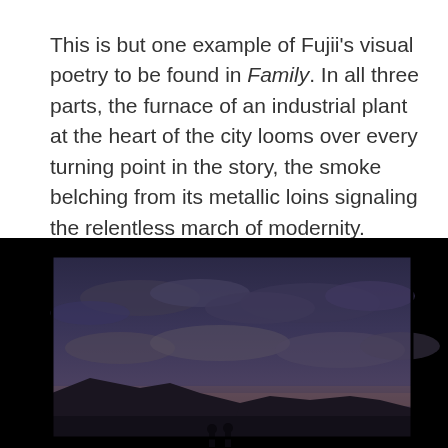This is but one example of Fujii's visual poetry to be found in Family. In all three parts, the furnace of an industrial plant at the heart of the city looms over every turning point in the story, the smoke belching from its metallic loins signaling the relentless march of modernity.
[Figure (photo): A dark twilight/dusk photograph showing a dramatic cloudy sky with deep blue-purple tones. In the lower portion, silhouettes of mountains or hills are visible against the sky, with two small human figures silhouetted at the bottom center. The image has a black border/frame around it.]